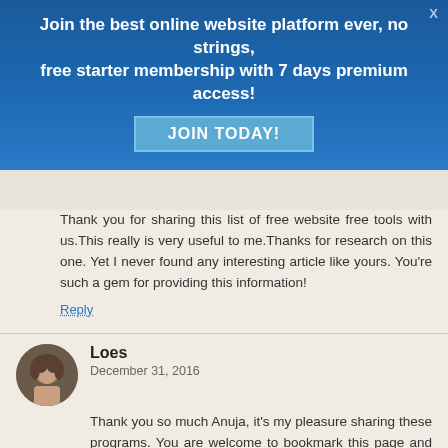Join the best online website platform ever, no strings, free starter membership with 7 days premium access!
JOIN TODAY!
Thank you for sharing this list of free website free tools with us.This really is very useful to me.Thanks for research on this one. Yet I never found any interesting article like yours. You're such a gem for providing this information!
Reply
Loes
December 31, 2016
Thank you so much Anuja, it's my pleasure sharing these programs. You are welcome to bookmark this page and come back anytime. Have a great 2017, kind regards, Loes
Reply
Share Talloution